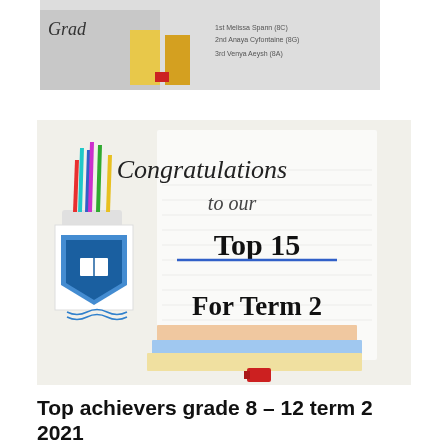[Figure (photo): Partial top image showing grade awards or top achievers list with books and pencils, partially cropped]
[Figure (photo): Congratulations banner image saying 'Congratulations to our Top 15 For Term 2' with a school crest/logo, pencils in a cup, and stacked books]
Top achievers grade 8 – 12 term 2 2021
August 12, 2021 / in Awards, Learners / by Jolande Swartz